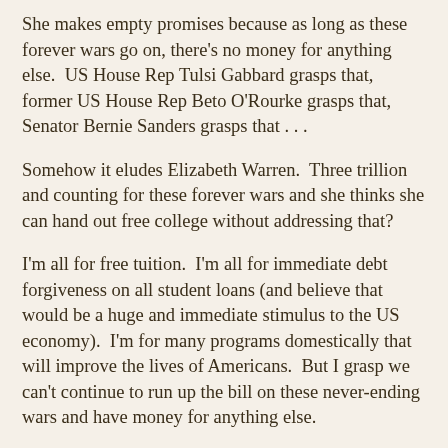She makes empty promises because as long as these forever wars go on, there's no money for anything else.  US House Rep Tulsi Gabbard grasps that, former US House Rep Beto O'Rourke grasps that, Senator Bernie Sanders grasps that . . .
Somehow it eludes Elizabeth Warren.  Three trillion and counting for these forever wars and she thinks she can hand out free college without addressing that?
I'm all for free tuition.  I'm all for immediate debt forgiveness on all student loans (and believe that would be a huge and immediate stimulus to the US economy).  I'm for many programs domestically that will improve the lives of Americans.  But I grasp we can't continue to run up the bill on these never-ending wars and have money for anything else.
Elizabeth Warren doesn't appear to grasp that and appears to have little to no interest in foreign relations.